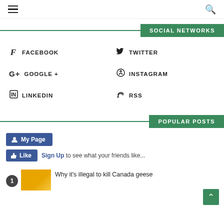Navigation header with hamburger menu and search icon
SOCIAL NETWORKS
f  FACEBOOK
Twitter (bird icon)  TWITTER
G+  GOOGLE +
Instagram icon  INSTAGRAM
in  LINKEDIN
RSS icon  RSS
POPULAR POSTS
[Figure (screenshot): Facebook widget showing My Page button and Like button with Sign Up link and text 'to see what your friends like...']
[Figure (photo): Thumbnail image for popular post #1]
Why it's illegal to kill Canada geese